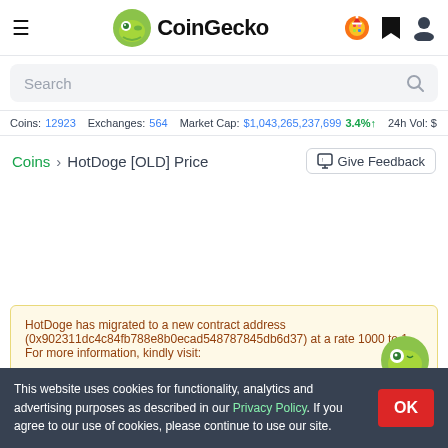CoinGecko
Search
Coins: 12923   Exchanges: 564   Market Cap: $1,043,265,237,699 3.4%↑   24h Vol: $
Coins > HotDoge [OLD] Price   Give Feedback
HotDoge has migrated to a new contract address (0x902311dc4c84fb788e8b0ecad548787845db6d37) at a rate 1000 to 1. For more information, kindly visit:
This website uses cookies for functionality, analytics and advertising purposes as described in our Privacy Policy. If you agree to our use of cookies, please continue to use our site.